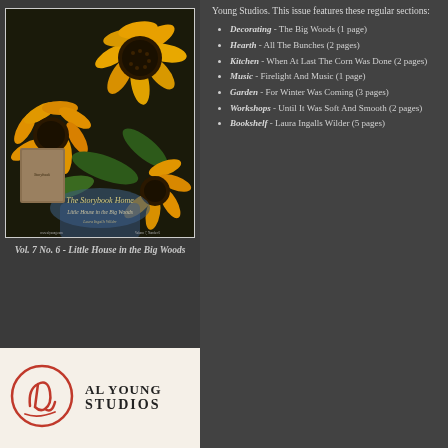[Figure (photo): Magazine cover for The Storybook Home, Vol. 7 No. 6 - Little House in the Big Woods, featuring sunflowers on a dark background]
Vol. 7 No. 6 - Little House in the Big Woods
Young Studios. This issue features these regular sections:
Decorating - The Big Woods (1 page)
Hearth - All The Bunches (2 pages)
Kitchen - When At Last The Corn Was Done (2 pages)
Music - Firelight And Music (1 page)
Garden - For Winter Was Coming (3 pages)
Workshops - Until It Was Soft And Smooth (2 pages)
Bookshelf - Laura Ingalls Wilder (5 pages)
[Figure (logo): Al Young Studios logo - circular red script monogram with text Al Young Studios]